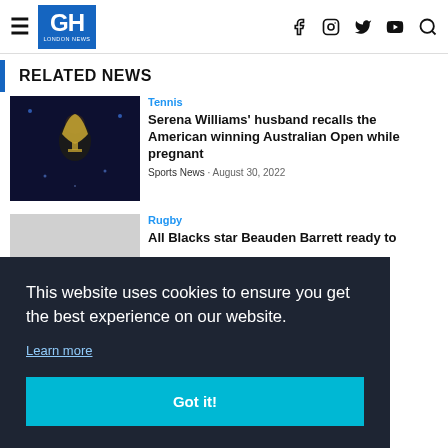GH LONDON NEWS
RELATED NEWS
Tennis
Serena Williams' husband recalls the American winning Australian Open while pregnant
Sports News · August 30, 2022
Rugby
All Blacks star Beauden Barrett ready to
This website uses cookies to ensure you get the best experience on our website.
Learn more
Got it!
Tennis
US Open player kissed and touched by